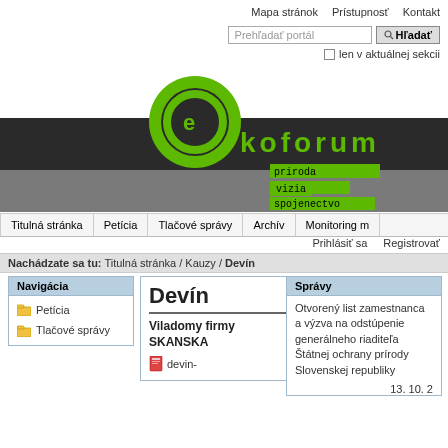Mapa stránok   Prístupnosť   Kontakt
Prehľadať portál  [Hľadať]  len v aktuálnej sekcii
[Figure (logo): Ekoforum website logo: green circular arrow icon with letter e, text 'ekoforum' in dark banner, green tag words: priroda, etika, spojenectvo, vizia on grey background]
Titulná stránka | Petícia | Tlačové správy | Archív | Monitoring m
Prihlásiť sa   Registrovať
Nachádzate sa tu: Titulná stránka / Kauzy / Devín
Navigácia
Petícia
Tlačové správy
Devín
Viladomy firmy SKANSKA
devin-
Správy
Otvorený list zamestnanca a výzva na odstúpenie generálneho riaditeľa Štátnej ochrany prírody Slovenskej republiky
13. 10. 2